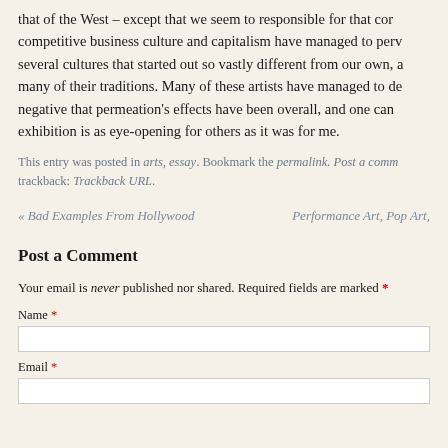that of the West – except that we seem to responsible for that competitive business culture and capitalism have managed to perv several cultures that started out so vastly different from our own, a many of their traditions. Many of these artists have managed to de negative that permeation's effects have been overall, and one can exhibition is as eye-opening for others as it was for me.
This entry was posted in arts, essay. Bookmark the permalink. Post a comm trackback: Trackback URL.
« Bad Examples From Hollywood    Performance Art, Pop Art,
Post a Comment
Your email is never published nor shared. Required fields are marked *
Name *
Email *